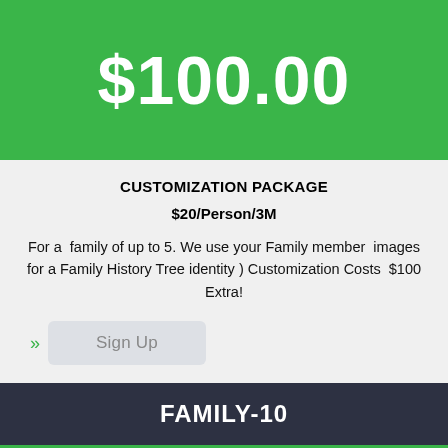$100.00
CUSTOMIZATION PACKAGE
$20/Person/3M
For a  family of up to 5. We use your Family member  images for a Family History Tree identity ) Customization Costs  $100 Extra!
Sign Up
FAMILY-10
$120.00
Return to Top